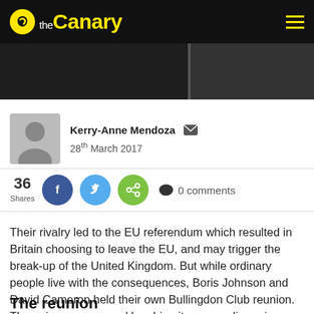the Canary
[Figure (photo): Dark photo strip showing partial image, appears to be a scene with figures]
Kerry-Anne Mendoza  28th March 2017
36 Shares  0 comments
Their rivalry led to the EU referendum which resulted in Britain choosing to leave the EU, and may trigger the break-up of the United Kingdom. But while ordinary people live with the consequences, Boris Johnson and David Cameron held their own Bullingdon Club reunion. The pair were snapped laughing it up over dinner in Harlem, New York.
The reunion